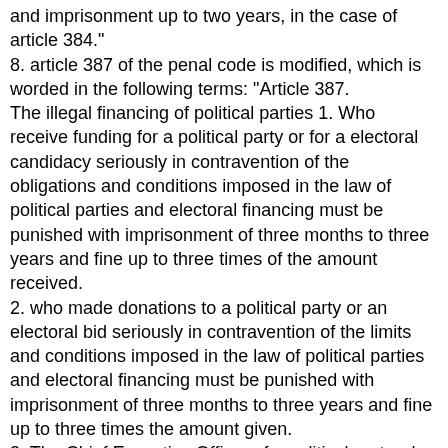and imprisonment up to two years, in the case of article 384."
8. article 387 of the penal code is modified, which is worded in the following terms: "Article 387. The illegal financing of political parties 1. Who receive funding for a political party or for a electoral candidacy seriously in contravention of the obligations and conditions imposed in the law of political parties and electoral financing must be punished with imprisonment of three months to three years and fine up to three times of the amount received.
2. who made donations to a political party or an electoral bid seriously in contravention of the limits and conditions imposed in the law of political parties and electoral financing must be punished with imprisonment of three months to three years and fine up to three times the amount given.
3. The Chief Executive Officer of a political party who had at their disposal assets, funds or any patrimonial element is not declared, both in and outside of it, the acquisition of which has not been duly justified in accordance with the legal regime of current funding, nor with the accounting formulated and presented to the control of the Court of accounts, will be punished with imprisonment of three months to three years and fine up to three times the value.
4. This offence is punished even when the goods, or the